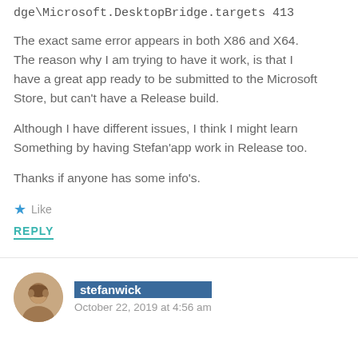dge\Microsoft.DesktopBridge.targets 413
The exact same error appears in both X86 and X64. The reason why I am trying to have it work, is that I have a great app ready to be submitted to the Microsoft Store, but can't have a Release build.
Although I have different issues, I think I might learn Something by having Stefan'app work in Release too.
Thanks if anyone has some info's.
Like
REPLY
stefanwick
October 22, 2019 at 4:56 am